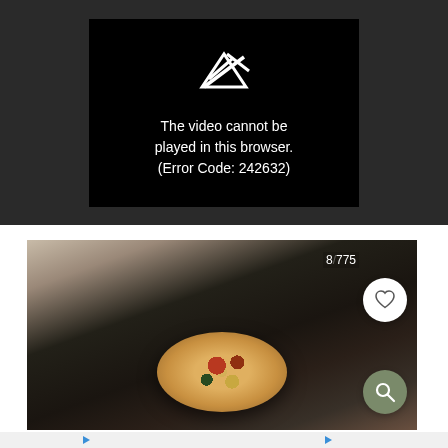[Figure (screenshot): Video player showing error message on black background: 'The video cannot be played in this browser. (Error Code: 242632)' with a broken video icon above the text.]
[Figure (photo): Food photo showing a small round pizza or flatbread in a dark cast iron skillet, with toppings visible. A white heart/favorite button and an olive-green search button overlay the image. View count '8,775' visible in top right.]
[Figure (screenshot): Bottom strip showing partial thumbnail images with play icons.]